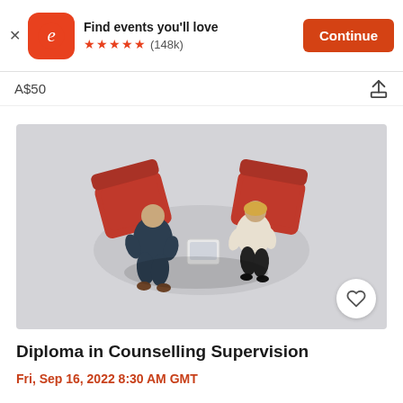[Figure (screenshot): Eventbrite app install banner with orange logo, 'Find events you'll love' text, 5-star rating with (148k) reviews, and a Continue button]
A$50
[Figure (photo): Aerial top-down view of two people sitting in red chairs, appearing to be in a counselling or supervision session]
Diploma in Counselling Supervision
Fri, Sep 16, 2022 8:30 AM GMT